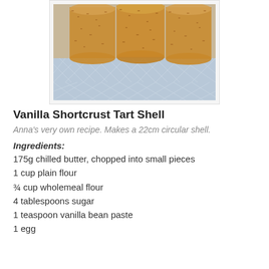[Figure (photo): Photo of vanilla shortcrust tart shells on a glass plate with diamond-cut pattern]
Vanilla Shortcrust Tart Shell
Anna's very own recipe. Makes a 22cm circular shell.
Ingredients:
175g chilled butter, chopped into small pieces
1 cup plain flour
¾ cup wholemeal flour
4 tablespoons sugar
1 teaspoon vanilla bean paste
1 egg